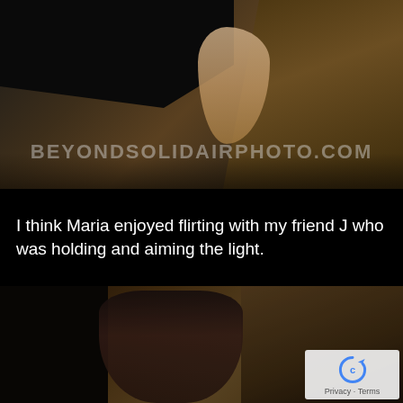[Figure (photo): Top-down photograph of a woman in a black dress lying on rough stone/rock surface, feet visible, with watermark BEYONDSOLIDAIRPHOTO.COM overlaid]
I think Maria enjoyed flirting with my friend J who was holding and aiming the light.
[Figure (photo): Photograph of a dark-haired woman in a black dress sitting against stone columns/pillars in a dimly lit setting, with a Google reCAPTCHA Privacy - Terms badge in the bottom right corner]